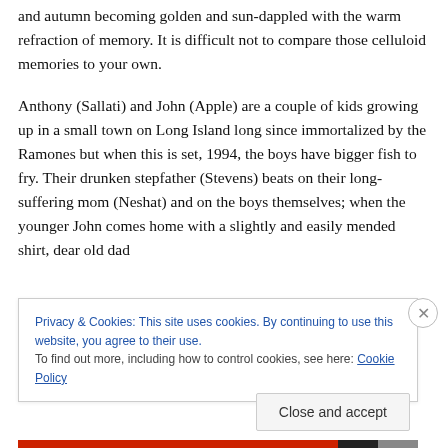viewed largely through a sophmore, the lens of summer and autumn becoming golden and sun-dappled with the warm refraction of memory. It is difficult not to compare those celluloid memories to your own.
Anthony (Sallati) and John (Apple) are a couple of kids growing up in a small town on Long Island long since immortalized by the Ramones but when this is set, 1994, the boys have bigger fish to fry. Their drunken stepfather (Stevens) beats on their long-suffering mom (Neshat) and on the boys themselves; when the younger John comes home with a slightly and easily mended shirt, dear old dad
Privacy & Cookies: This site uses cookies. By continuing to use this website, you agree to their use.
To find out more, including how to control cookies, see here: Cookie Policy
Close and accept